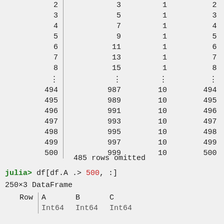| Row | | | A | B | C |
| --- | --- | --- | --- | --- |
| 2 | | | 3 | 1 | 2 |
| 3 | | | 5 | 1 | 3 |
| 4 | | | 7 | 1 | 4 |
| 5 | | | 9 | 1 | 5 |
| 6 | | | 11 | 1 | 6 |
| 7 | | | 13 | 1 | 7 |
| 8 | | | 15 | 1 | 8 |
| ⋮ | | | ⋮ | ⋮ | ⋮ |
| 494 | | | 987 | 10 | 494 |
| 495 | | | 989 | 10 | 495 |
| 496 | | | 991 | 10 | 496 |
| 497 | | | 993 | 10 | 497 |
| 498 | | | 995 | 10 | 498 |
| 499 | | | 997 | 10 | 499 |
| 500 | | | 999 | 10 | 500 |
485 rows omitted
julia> df[df.A .> 500, :]
250×3 DataFrame
| Row | | | A | B | C |
| --- | --- | --- | --- | --- |
|  | | | Int64 | Int64 | Int64 |